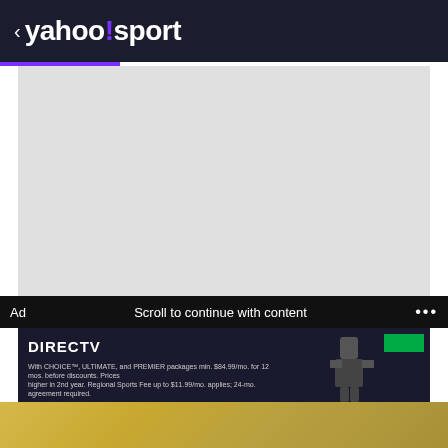< yahoo!sport
[Figure (photo): Gray placeholder image area representing content that has not loaded]
Ad   Scroll to continue with content   ...
[Figure (screenshot): DirecTV advertisement banner showing DIRECTV logo and text: With CHOICE™, ULTIMATE, and PREMIER packages min. $84.99/mo. for 12 mos. before discounts. Prices higher in 2nd year. Regional Sports Fee up to $11.99/mo. applies; 24-mo. agreement required. Background shows football players.]
DirecTV
NFL Sunday Ticket
Don't be left on the sidelines this season, Get